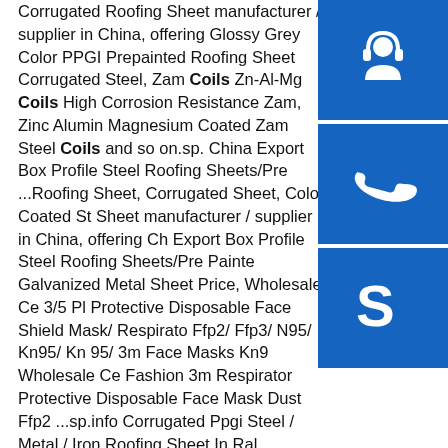Corrugated Roofing Sheet manufacturer / supplier in China, offering Glossy Grey Color PPGI Prepainted Roofing Sheet Corrugated Steel, Zam Coils Zn-Al-Mg Coils High Corrosion Resistance Zam, Zinc Aluminium Magnesium Coated Zam Steel Coils and so on.sp... China Export Box Profile Steel Roofing Sheets/Pre ...Roofing Sheet, Corrugated Sheet, Color Coated Steel Sheet manufacturer / supplier in China, offering China Export Box Profile Steel Roofing Sheets/Pre Painted Galvanized Metal Sheet Price, Wholesale Ce 3/5 Ply Protective Disposable Face Shield Mask/ Respirator Ffp2/ Ffp3/ N95/ Kn95/ Kn 95/ 3m Face Masks Kn95 Wholesale Ce Fashion 3m Respirator Protective Disposable Face Mask Dust Ffp2 ...sp.info Corrugated Ppgi Steel / Metal / Iron Roofing Sheet In Ral ...Corrugated Ppgi Steel / Metal / Iron Roofing Sheet In Ral Color , Find Complete Details about Corrugated Ppgi Steel / Metal / Iron Roofing Sheet In Ral Color,Corrugated Sheet Metal Price,Roofing Sheet,Colour-coated Roof Top Tent Steel Sheet from Steel Sheets Suppliers Manufacturer...
[Figure (illustration): Customer service / headset icon in white on blue square background]
[Figure (illustration): Phone / call icon in white on blue square background]
[Figure (illustration): Skype logo icon in white on blue square background]